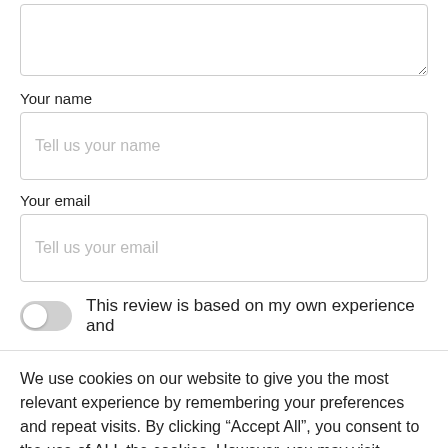[Figure (screenshot): Textarea input field (top portion visible, empty, with resize handle at bottom-right corner)]
Your name
[Figure (screenshot): Text input field with placeholder text 'Tell us your name']
Your email
[Figure (screenshot): Text input field with placeholder text 'Tell us your email']
This review is based on my own experience and
We use cookies on our website to give you the most relevant experience by remembering your preferences and repeat visits. By clicking “Accept All”, you consent to the use of ALL the cookies. However, you may visit "Cookie Settings" to provide a controlled consent.
[Figure (logo): WhatsApp circular green logo button]
Settings
Accept All